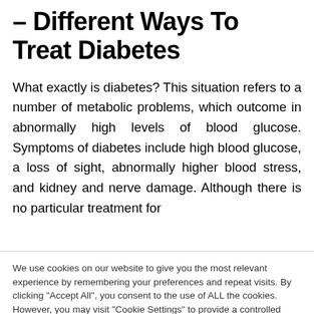– Different Ways To Treat Diabetes
What exactly is diabetes? This situation refers to a number of metabolic problems, which outcome in abnormally high levels of blood glucose. Symptoms of diabetes include high blood glucose, a loss of sight, abnormally higher blood stress, and kidney and nerve damage. Although there is no particular treatment for
We use cookies on our website to give you the most relevant experience by remembering your preferences and repeat visits. By clicking "Accept All", you consent to the use of ALL the cookies. However, you may visit "Cookie Settings" to provide a controlled consent.